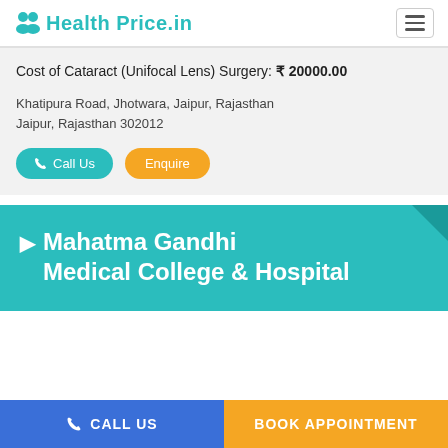Health Price.in
Cost of Cataract (Unifocal Lens) Surgery: ₹ 20000.00
Khatipura Road, Jhotwara, Jaipur, Rajasthan
Jaipur, Rajasthan 302012
Call Us   Enquire
Mahatma Gandhi Medical College & Hospital
CALL US   BOOK APPOINTMENT